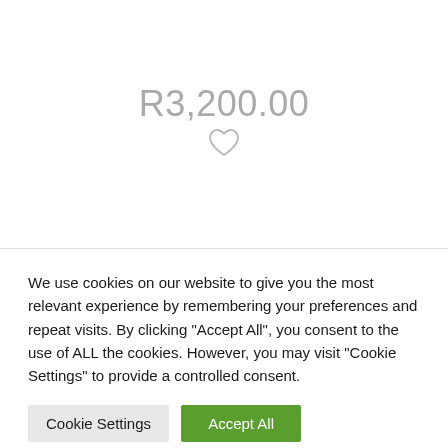R3,200.00
[Figure (illustration): Heart/favorite icon (outline heart shape in light gray)]
We use cookies on our website to give you the most relevant experience by remembering your preferences and repeat visits. By clicking “Accept All”, you consent to the use of ALL the cookies. However, you may visit "Cookie Settings" to provide a controlled consent.
Cookie Settings
Accept All